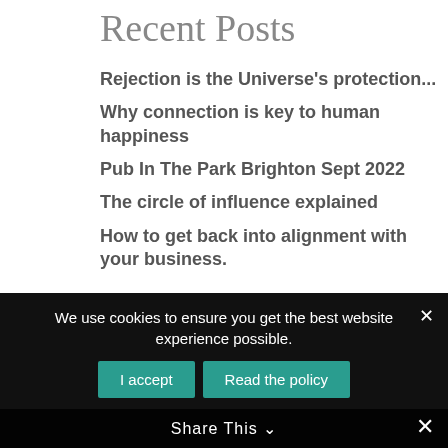Recent Posts
Rejection is the Universe's protection...
Why connection is key to human happiness
Pub In The Park Brighton Sept 2022
The circle of influence explained
How to get back into alignment with your business.
Recent Comments
Use what you already have - Helen Packham on How Speaker Bookings Are Made
We use cookies to ensure you get the best website experience possible.
Share This